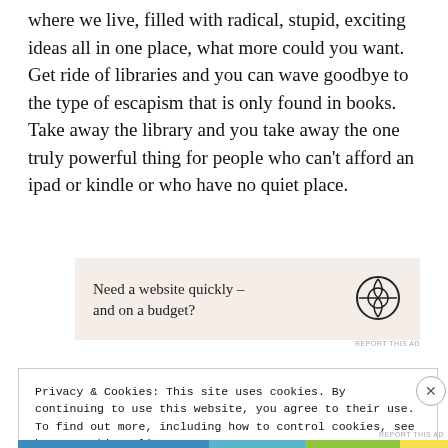where we live, filled with radical, stupid, exciting ideas all in one place, what more could you want. Get ride of libraries and you can wave goodbye to the type of escapism that is only found in books. Take away the library and you take away the one truly powerful thing for people who can't afford an ipad or kindle or who have no quiet place.
[Figure (other): Advertisement box with beige background. Text reads 'Need a website quickly – and on a budget?' with WordPress logo on the right.]
REPORT THIS AD
Privacy & Cookies: This site uses cookies. By continuing to use this website, you agree to their use.
To find out more, including how to control cookies, see here: Cookie Policy
Close and accept